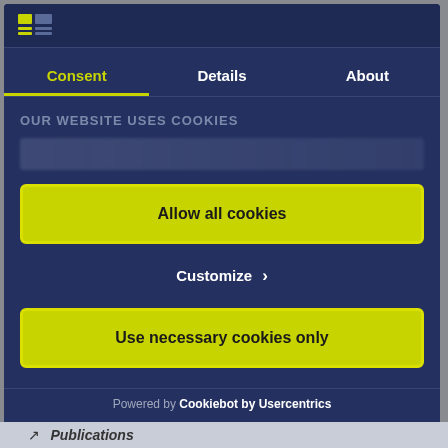[Figure (screenshot): Cookie consent modal dialog with dark navy background. Contains a logo in the header, three tabs (Consent, Details, About), a section titled OUR WEBSITE USES COOKIES with blurred background text, two yellow action buttons (Allow all cookies, Use necessary cookies only), a Customize option, and a powered by Cookiebot by Usercentrics footer.]
OUR WEBSITE USES COOKIES
Allow all cookies
Customize >
Use necessary cookies only
Powered by Cookiebot by Usercentrics
Publications